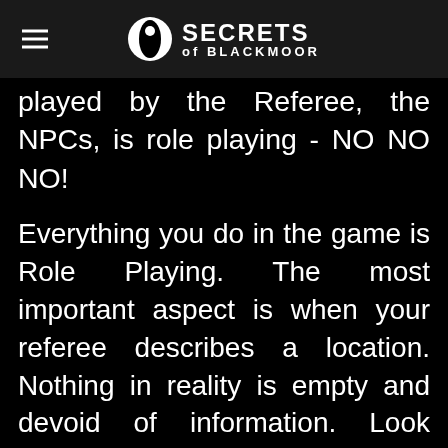SECRETS of BLACKMOOR
played by the Referee, the NPCs, is role playing - NO NO NO!
Everything you do in the game is Role Playing. The most important aspect is when your referee describes a location. Nothing in reality is empty and devoid of information. Look around you right now and examine everything as if you'd never seen it before? Now